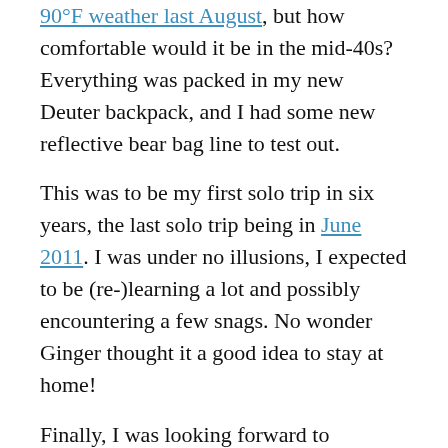90°F weather last August, but how comfortable would it be in the mid-40s? Everything was packed in my new Deuter backpack, and I had some new reflective bear bag line to test out.
This was to be my first solo trip in six years, the last solo trip being in June 2011. I was under no illusions, I expected to be (re-)learning a lot and possibly encountering a few snags. No wonder Ginger thought it a good idea to stay at home!
Finally, I was looking forward to spending a few quiet days in the wilderness.
Day One.
Hercules Glades is around a ninety minute (seventy miles) drive from Springfield. I arrived at the Tower Trailhead just before 1:00 p.m. A